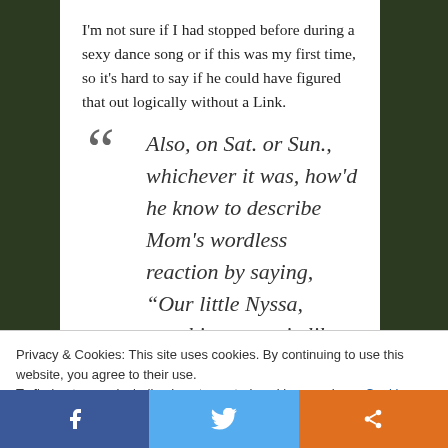I'm not sure if I had stopped before during a sexy dance song or if this was my first time, so it's hard to say if he could have figured that out logically without a Link.
Also, on Sat. or Sun., whichever it was, how'd he know to describe Mom's wordless reaction by saying, “Our little Nyssa, watching a movie like that [American
Privacy & Cookies: This site uses cookies. By continuing to use this website, you agree to their use.
To find out more, including how to control cookies, see here: Cookie Policy
Close and accept